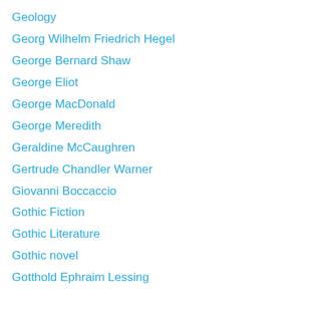Geology
Georg Wilhelm Friedrich Hegel
George Bernard Shaw
George Eliot
George MacDonald
George Meredith
Geraldine McCaughren
Gertrude Chandler Warner
Giovanni Boccaccio
Gothic Fiction
Gothic Literature
Gothic novel
Gotthold Ephraim Lessing